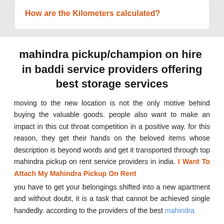How are the Kilometers calculated?
mahindra pickup/champion on hire in baddi service providers offering best storage services
moving to the new location is not the only motive behind buying the valuable goods. people also want to make an impact in this cut throat competition in a positive way. for this reason, they get their hands on the beloved items whose description is beyond words and get it transported through top mahindra pickup on rent service providers in india. I Want To Attach My Mahindra Pickup On Rent
you have to get your belongings shifted into a new apartment and without doubt, it is a task that cannot be achieved single handedly. according to the providers of the best mahindra